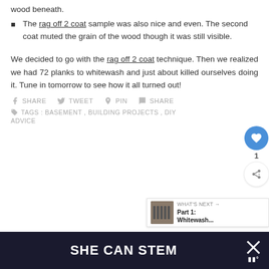wood beneath.
The rag off 2 coat sample was also nice and even. The second coat muted the grain of the wood though it was still visible.
We decided to go with the rag off 2 coat technique. Then we realized we had 72 planks to whitewash and just about killed ourselves doing it. Tune in tomorrow to see how it all turned out!
SHARE  TWEET  PIN  SHARE
TAGS : BASEMENT , BUILDING PROJECTS , DIY ADVICE
SHE CAN STEM